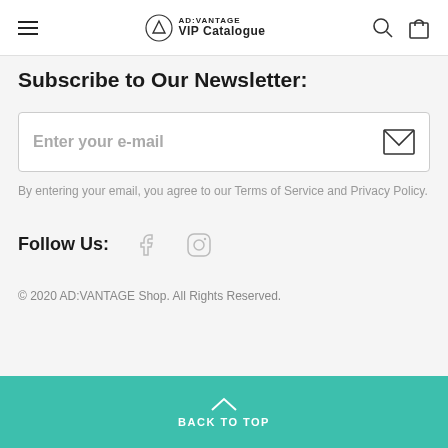AD:VANTAGE VIP Catalogue
Subscribe to Our Newsletter:
Enter your e-mail
By entering your email, you agree to our Terms of Service and Privacy Policy.
Follow Us:
© 2020 AD:VANTAGE Shop. All Rights Reserved.
BACK TO TOP